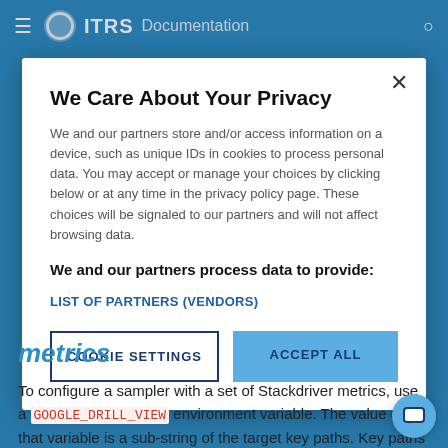ITRS Documentation
We Care About Your Privacy
We and our partners store and/or access information on a device, such as unique IDs in cookies to process personal data. You may accept or manage your choices by clicking below or at any time in the privacy policy page. These choices will be signaled to our partners and will not affect browsing data.
We and our partners process data to provide:
LIST OF PARTNERS (VENDORS)
COOKIE SETTINGS
ACCEPT ALL
metrics
To configure a sampler with a set of Stackdriver metrics, use a GOOGLE_DRILL_VIEW environment variable. The value of that variable is a sub-string of the target key paths. Key paths are displayed by the StackDriver-Monitoring dataview.